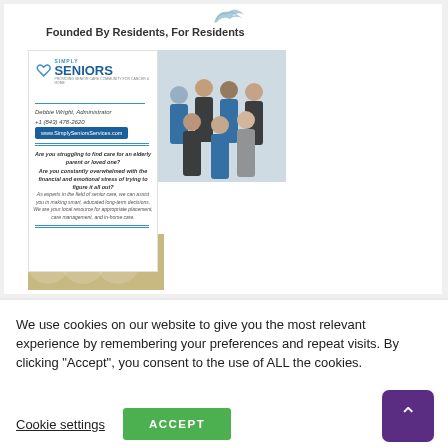[Figure (screenshot): Website screenshot showing Simply Seniors company page with logo, team photo, contact info, and 'Because we love our heroes' banner]
Founded By Residents, For Residents
[Figure (logo): Simply Seniors logo with heart icon]
[Figure (photo): Team photo of Simply Seniors staff members]
Debbie Wright, Administrator
+1 (843) 478-2620
www.SimplySeniorsServices.com
Are you struggling to find care for an elderly parent or loved one? Are you constantly overwhelmed with the financial and emotional stress of trying to figure it all out?
As experts in the field of senior care, we can assist you in making smart, educated long-term decisions. We are your local resource for appropriate placement, care management, and in-home care.
[Figure (illustration): Because we love our heroes banner with tan/brown background]
We use cookies on our website to give you the most relevant experience by remembering your preferences and repeat visits. By clicking “Accept”, you consent to the use of ALL the cookies.
Cookie settings
ACCEPT